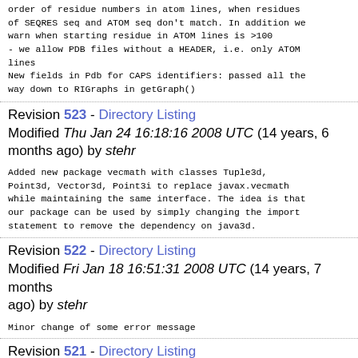order of residue numbers in atom lines, when residues of SEQRES seq and ATOM seq don't match. In addition we warn when starting residue in ATOM lines is >100
- we allow PDB files without a HEADER, i.e. only ATOM lines
New fields in Pdb for CAPS identifiers: passed all the way down to RIGraphs in getGraph()
Revision 523 - Directory Listing
Modified Thu Jan 24 16:18:16 2008 UTC (14 years, 6 months ago) by stehr
Added new package vecmath with classes Tuple3d, Point3d, Vector3d, Point3i to replace javax.vecmath while maintaining the same interface. The idea is that our package can be used by simply changing the import statement to remove the dependency on java3d.
Revision 522 - Directory Listing
Modified Fri Jan 18 16:51:31 2008 UTC (14 years, 7 months ago) by stehr
Minor change of some error message
Revision 521 - Directory Listing
Modified Wed Jan 16 17:58:38 2008 UTC (14 years, 7 months ago) by duarte
Fixed bug! actually it was not an abbot bug but our